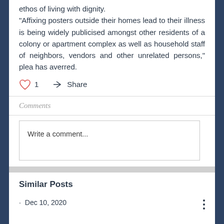ethos of living with dignity. "Affixing posters outside their homes lead to their illness is being widely publicised amongst other residents of a colony or apartment complex as well as household staff of neighbors, vendors and other unrelated persons," plea has averred.
1  Share
Comments
Write a comment...
Similar Posts
· Dec 10, 2020